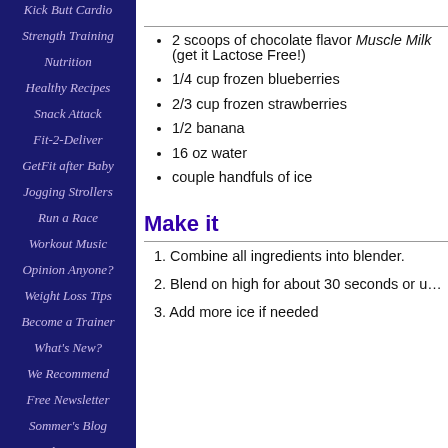Kick Butt Cardio
Strength Training
Nutrition
Healthy Recipes
Snack Attack
Fit-2-Deliver
GetFit after Baby
Jogging Strollers
Run a Race
Workout Music
Opinion Anyone?
Weight Loss Tips
Become a Trainer
What's New?
We Recommend
Free Newsletter
Sommer's Blog
About Us
2 scoops of chocolate flavor Muscle Milk (get it Lactose Free!)
1/4 cup frozen blueberries
2/3 cup frozen strawberries
1/2 banana
16 oz water
couple handfuls of ice
Make it
1. Combine all ingredients into blender.
2. Blend on high for about 30 seconds or u…
3. Add more ice if needed